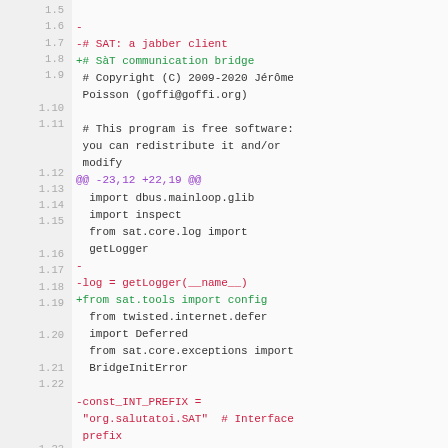[Figure (screenshot): Code diff view showing changes to a file, with line numbers on the left and diff content (removed lines in red, added lines in green, context lines in normal color) on the right. Lines 1.5 through 1.25 are shown.]